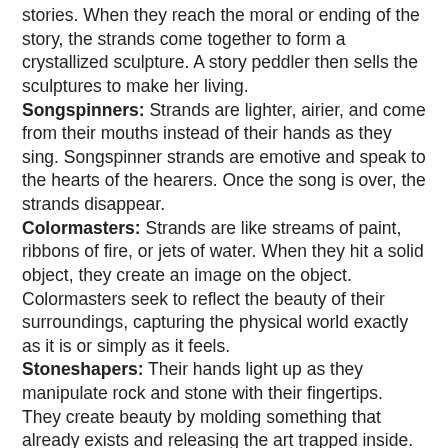stories. When they reach the moral or ending of the story, the strands come together to form a crystallized sculpture. A story peddler then sells the sculptures to make her living. Songspinners: Strands are lighter, airier, and come from their mouths instead of their hands as they sing. Songspinner strands are emotive and speak to the hearts of the hearers. Once the song is over, the strands disappear. Colormasters: Strands are like streams of paint, ribbons of fire, or jets of water. When they hit a solid object, they create an image on the object. Colormasters seek to reflect the beauty of their surroundings, capturing the physical world exactly as it is or simply as it feels. Stoneshapers: Their hands light up as they manipulate rock and stone with their fingertips. They create beauty by molding something that already exists and releasing the art trapped inside.
If that sounds like fun, welcome to my weirdness! Tanwen can't wait to weave a sparkling adventure for you.
For a complete list of blog stops, go here!